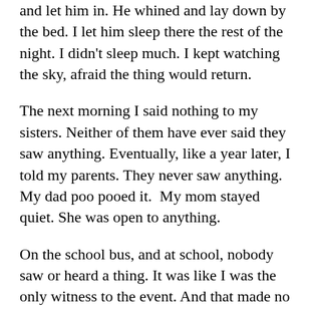and let him in. He whined and lay down by the bed. I let him sleep there the rest of the night. I didn't sleep much. I kept watching the sky, afraid the thing would return.
The next morning I said nothing to my sisters. Neither of them have ever said they saw anything. Eventually, like a year later, I told my parents. They never saw anything. My dad poo pooed it.  My mom stayed quiet. She was open to anything.
On the school bus, and at school, nobody saw or heard a thing. It was like I was the only witness to the event. And that made no sense to me.